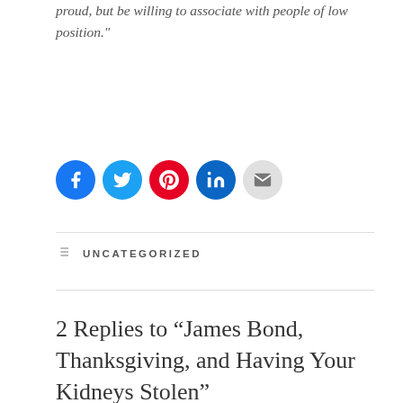proud, but be willing to associate with people of low position."
[Figure (infographic): Social share buttons: Facebook (blue circle), Twitter (light blue circle), Pinterest (red circle), LinkedIn (dark teal circle), Email (light gray circle)]
UNCATEGORIZED
2 Replies to “James Bond, Thanksgiving, and Having Your Kidneys Stolen”